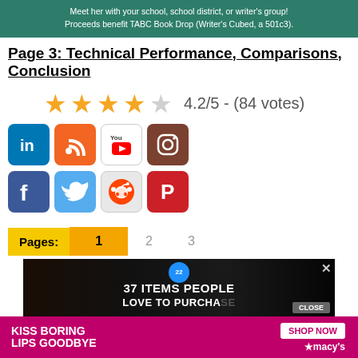[Figure (other): Green banner with text: Meet her with your school, school district, or writer's group! Proceeds benefit TABC Book Drop (Writer's Cubed, a 501c3).]
Page 3: Technical Performance, Comparisons, Conclusion
[Figure (other): Star rating: 4 filled stars and 1 empty star, with text 4.2/5 - (84 votes)]
[Figure (other): Social media icons: LinkedIn, RSS, YouTube, Instagram (top row); Facebook, Twitter, Reddit, Pinterest (bottom row)]
Pages: 1  2  3
[Figure (other): Advertisement banner: 37 ITEMS PEOPLE LOVE TO PURCHASE with close button]
[Figure (other): Bottom advertisement: KISS BORING LIPS GOODBYE - SHOP NOW - macy's]